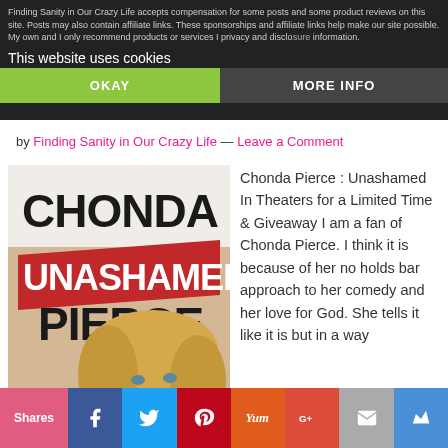Finding Sanity in Our Crazy Life accepts compensation for some posts and some product reviews on this site. Posts may also contain affiliate links. These sponsorships and affiliate links help make our site possible. My own and I only recommend products or services I privacy and disclosure information.
This website uses cookies
OKAY
MORE INFO
by Finding Sanity in Our Crazy Life — Leave a Comment
[Figure (photo): Book cover for Chonda Pierce: Unashamed, featuring bold text 'CHONDA UNASHAMED PIERCE' with a red banner and a photo of Chonda Pierce, a blonde woman smiling.]
Chonda Pierce : Unashamed In Theaters for a Limited Time & Giveaway I am a fan of Chonda Pierce. I think it is because of her no holds bar approach to her comedy and her love for God. She tells it like it is but in a way
Shares
f
t
p
Yum
G+
✉
▲